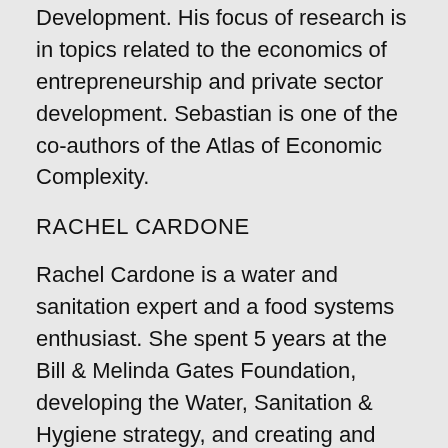Development. His focus of research is in topics related to the economics of entrepreneurship and private sector development. Sebastian is one of the co-authors of the Atlas of Economic Complexity.
RACHEL CARDONE
Rachel Cardone is a water and sanitation expert and a food systems enthusiast. She spent 5 years at the Bill & Melinda Gates Foundation, developing the Water, Sanitation & Hygiene strategy, and creating and managing a portfolio of related grants. Her desire to return to content and achieve work-life balance has led to her new role as a consultant. Rachel's key research interest is in how organizational systems influence quality of life in urban areas, through water, sanitation, solid waste, energy, and food systems From 1998-2007, Rachel consulted for a variety of agencies, including UK's DFID, the World Bank, the World Economic Forum, and leading sector NGOs,